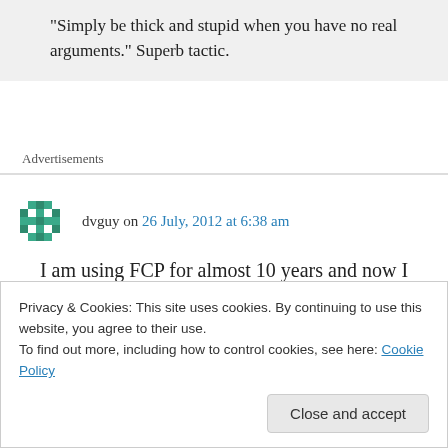“Simply be thick and stupid when you have no real arguments.” Superb tactic.
Advertisements
dvguy on 26 July, 2012 at 6:38 am
I am using FCP for almost 10 years and now I
Privacy & Cookies: This site uses cookies. By continuing to use this website, you agree to their use.
To find out more, including how to control cookies, see here: Cookie Policy
Close and accept